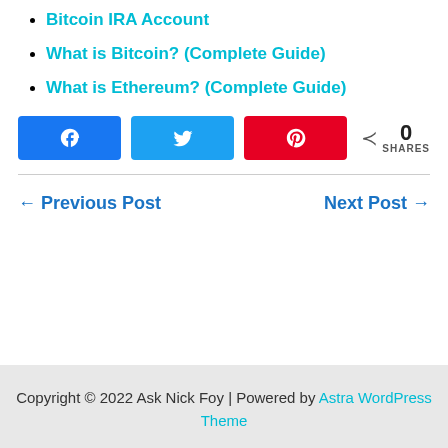Bitcoin IRA Account
What is Bitcoin? (Complete Guide)
What is Ethereum? (Complete Guide)
[Figure (other): Social share buttons: Facebook, Twitter, Pinterest, and share count showing 0 SHARES]
← Previous Post    Next Post →
Copyright © 2022 Ask Nick Foy | Powered by Astra WordPress Theme